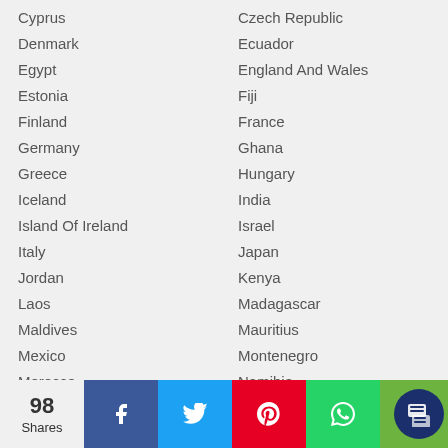Cyprus
Czech Republic
Denmark
Ecuador
Egypt
England And Wales
Estonia
Fiji
Finland
France
Germany
Ghana
Greece
Hungary
Iceland
India
Island Of Ireland
Israel
Italy
Japan
Jordan
Kenya
Laos
Madagascar
Maldives
Mauritius
Mexico
Montenegro
Morocco
Namibia
Nepal
Netherlands
New Zealand
North Macedonia
98 Shares | Facebook | Twitter | Pinterest | WhatsApp | Chat